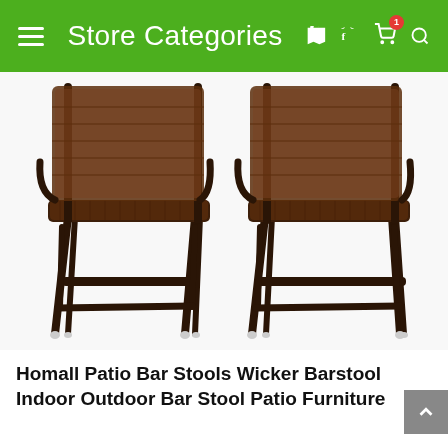Store Categories
[Figure (photo): Two wicker rattan bar stools with dark metal frames, shown side by side on a white background. The stools have high backs and footrests.]
Homall Patio Bar Stools Wicker Barstool Indoor Outdoor Bar Stool Patio Furniture